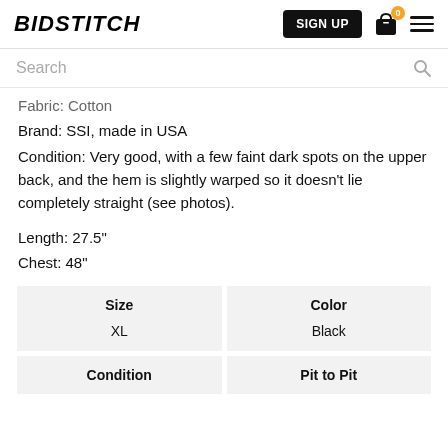BIDSTITCH — SIGN UP | Cart 0 | Menu
Search
Fabric: Cotton
Brand: SSI, made in USA
Condition: Very good, with a few faint dark spots on the upper back, and the hem is slightly warped so it doesn't lie completely straight (see photos).
Length: 27.5"
Chest: 48"
| Size | Color |
| --- | --- |
| XL | Black |
| Condition | Pit to Pit |
| --- | --- |